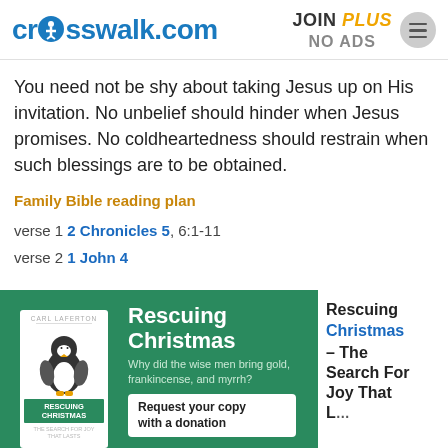crosswalk.com | JOIN PLUS NO ADS
You need not be shy about taking Jesus up on His invitation. No unbelief should hinder when Jesus promises. No coldheartedness should restrain when such blessings are to be obtained.
Family Bible reading plan
verse 1 2 Chronicles 5, 6:1-11
verse 2 1 John 4
[Figure (illustration): Advertisement banner for 'Rescuing Christmas' book by Carl Laferton on a green background, showing the book cover with a penguin illustration, the title 'Rescuing Christmas', subtitle 'Why did the wise men bring gold, frankincense, and myrrh?', and a 'Request your copy with a donation' button. To the right, white background with text 'Rescuing Christmas – The Search For Joy That Lasts']